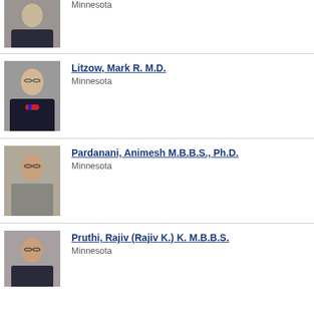[Figure (photo): Professional headshot of a male doctor wearing glasses and a suit, partial view at top of page]
Minnesota
[Figure (photo): Professional headshot of Mark R. Litzow M.D., male doctor wearing glasses and bow tie]
Litzow, Mark R. M.D.
Minnesota
[Figure (photo): Professional headshot of Animesh Pardanani M.B.B.S., Ph.D., male doctor wearing glasses]
Pardanani, Animesh M.B.B.S., Ph.D.
Minnesota
[Figure (photo): Professional headshot of Rajiv Pruthi M.B.B.S., male doctor wearing glasses]
Pruthi, Rajiv (Rajiv K.) K. M.B.B.S.
Minnesota